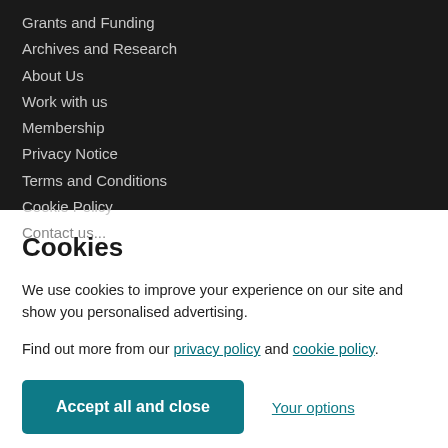Grants and Funding
Archives and Research
About Us
Work with us
Membership
Privacy Notice
Terms and Conditions
Cookie Policy
Contact us (partially visible)
Cookies
We use cookies to improve your experience on our site and show you personalised advertising.
Find out more from our privacy policy and cookie policy.
Accept all and close | Your options